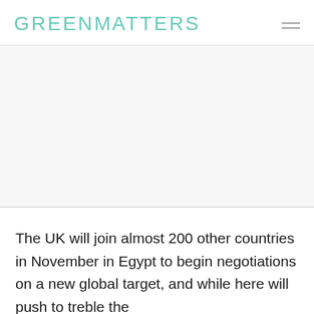GREENMATTERS
[Figure (photo): Large image area, appears blank/light grey in this crop]
The UK will join almost 200 other countries in November in Egypt to begin negotiations on a new global target, and while here will push to treble the